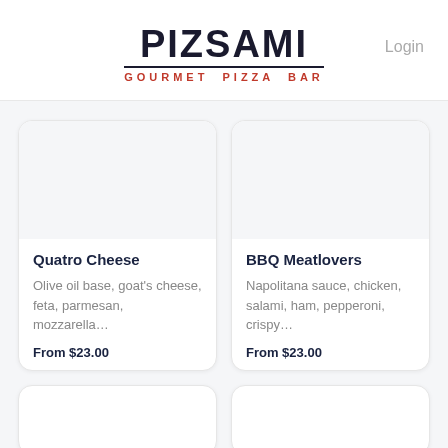PIZSAMI — GOURMET PIZZA BAR
Login
Quatro Cheese — Olive oil base, goat's cheese, feta, parmesan, mozzarella... — From $23.00
BBQ Meatlovers — Napolitana sauce, chicken, salami, ham, pepperoni, crispy... — From $23.00